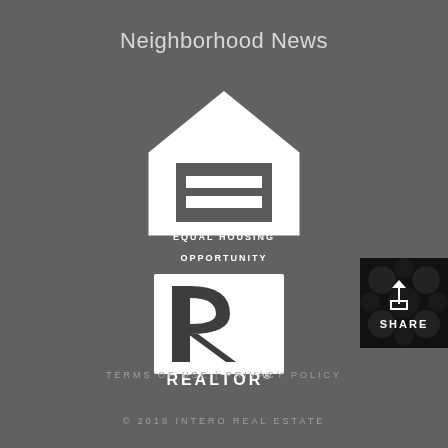Neighborhood News
[Figure (logo): Equal Housing Opportunity logo — white house outline with equal sign inside, text EQUAL HOUSING OPPORTUNITY below]
[Figure (logo): REALTOR logo — white R in a black square, text REALTOR with registered trademark symbol below]
[Figure (other): SHARE button with upload icon on black background with geometric floral pattern]
TERMS OF USE | PRIVACY POLICY
© 2018 INTERO REAL ESTATE